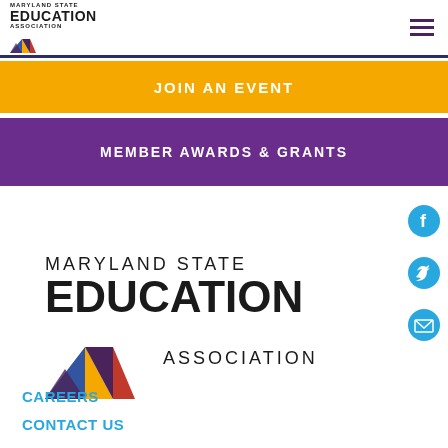[Figure (logo): Maryland State Education Association logo (small header version) with colorful angular shapes]
JOIN AN EVENT
MEMBER AWARDS & GRANTS
[Figure (logo): Maryland State Education Association main logo with large EDUCATION text and colorful angular shapes (blue, gold, purple, red)]
CAREERS
CONTACT US